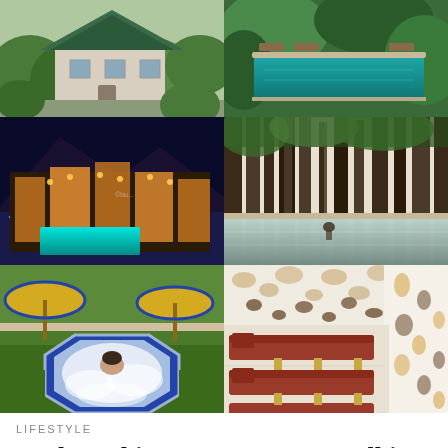[Figure (photo): 6-photo collage grid (3 rows x 2 columns): top-left shows a hillside house with green roof; top-right shows an infinity pool with lush green surroundings; middle-left shows an illuminated hilltop palace/resort at night with city lights below; middle-right shows an infinity pool surrounded by tall trees with a person standing in it; bottom-left shows a woman in an octagonal outdoor hot tub/jacuzzi with garden backdrop; bottom-right shows a modern spa room with decorative patterned ceiling and red loungers.]
LIFESTYLE
Soul Soothing Retreats Near Delhi For